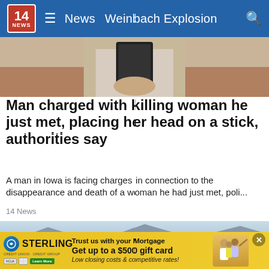14 NEWS  ≡  News  Weinbach Explosion  🔍
[Figure (photo): Partial photo of a person holding a phone, taking a mirror selfie, cropped to show mostly the midsection and phone]
Man charged with killing woman he just met, placing her head on a stick, authorities say
A man in Iowa is facing charges in connection to the disappearance and death of a woman he had just met,  poli...
14 News
[Figure (photo): Aerial or wide-angle view of a large parking lot filled with rows of white/silver cars, with mountains and commercial buildings in the background under a clear sky]
Trust us with your Mortgage  Get up to a $500 gift card  Low closing costs & competitive rates!  STERLING